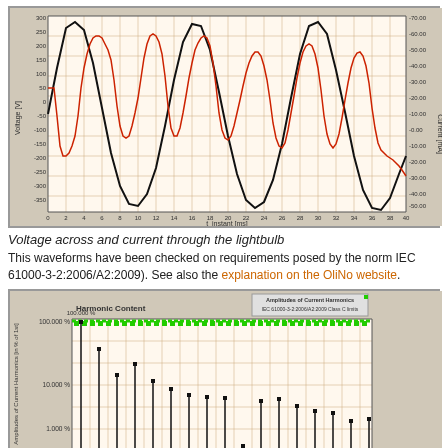[Figure (continuous-plot): Oscilloscope-style waveform plot showing voltage (black sine wave, left y-axis in V from -350 to 300) and current (red waveform, right y-axis in mA from -80 to -70) through a lightbulb vs time (x-axis t_instant in ms, 0 to 40). Left y-axis labeled 'Voltage [V]', right y-axis labeled 'Current [mA]'.]
Voltage across and current through the lightbulb
This waveforms have been checked on requirements posed by the norm IEC 61000-3-2:2006/A2:2009). See also the explanation on the OliNo website.
[Figure (continuous-plot): Bar/stem chart showing Harmonic Content - Amplitudes of Current Harmonics (in % of 1st) on logarithmic y-axis (1.000% to 100.000%). X-axis shows harmonic numbers. A green dotted line at top shows IEC 61000-3-2:2006/A2:2009 Class C limits. The chart has an orange grid background. Title box in upper right: 'Amplitudes of Current Harmonics / IEC 61000-3-2:2006/A2:2009 Class C limits'.]